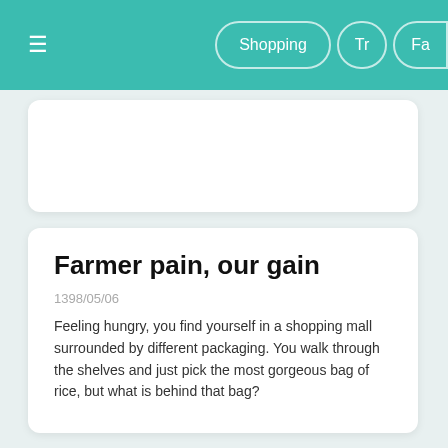≡  Shopping  Tr  Fa
Farmer pain, our gain
1398/05/06
Feeling hungry, you find yourself in a shopping mall surrounded by different packaging. You walk through the shelves and just pick the most gorgeous bag of rice, but what is behind that bag?